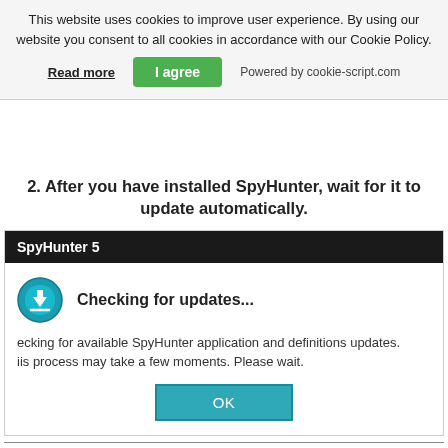This website uses cookies to improve user experience. By using our website you consent to all cookies in accordance with our Cookie Policy.
Read more   I agree   Powered by cookie-script.com
2. After you have installed SpyHunter, wait for it to update automatically.
[Figure (screenshot): SpyHunter 5 application window showing 'Checking for updates...' dialog with a teal/blue icon, description text 'Checking for available SpyHunter application and definitions updates. This process may take a few moments. Please wait.' and an OK button.]
3. After the update process has finished, click on the 'Malware/PC Scan' tab. A new window will appear. Click on 'Start Scan'.